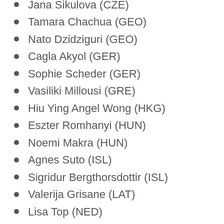Jana Sikulova (CZE)
Tamara Chachua (GEO)
Nato Dzidziguri (GEO)
Cagla Akyol (GER)
Sophie Scheder (GER)
Vasiliki Millousi (GRE)
Hiu Ying Angel Wong (HKG)
Eszter Romhanyi (HUN)
Noemi Makra (HUN)
Agnes Suto (ISL)
Sigridur Bergthorsdottir (ISL)
Valerija Grisane (LAT)
Lisa Top (NED)
Jin Yi Hoekstra (NED)
Paula Plichta (POL)
Katarzyna Jurkowska (POL)
Ana Filipa Martins (POR)